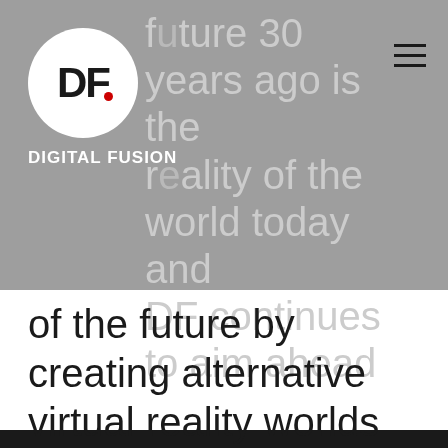[Figure (logo): Digital Fusion logo: white circle with 'DF' monogram in black and a red dot, with 'DIGITAL FUSION' text below in white]
future 30 years ago is the reality of the world today and DF continues to aim ahead of the future by creating alternative virtual reality worlds that bend and transcend time and space.